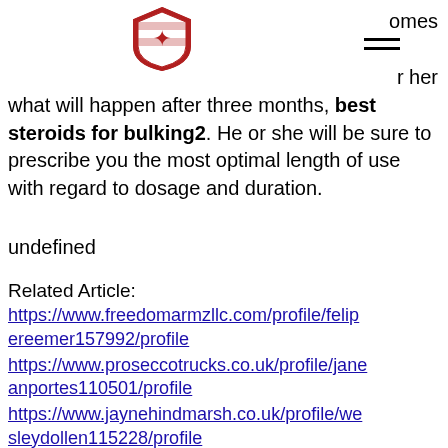omes
r her
[Figure (logo): Red and white shield logo with eagle emblem]
what will happen after three months, best steroids for bulking2. He or she will be sure to prescribe you the most optimal length of use with regard to dosage and duration.
undefined
Related Article:
https://www.freedomarmzllc.com/profile/felipereemer157992/profile
https://www.proseccotrucks.co.uk/profile/janeanportes110501/profile
https://www.jaynehindmarsh.co.uk/profile/wesleydollen115228/profile
https://www.thepitmanduo.com/profile/alphonseboehler177475/profile